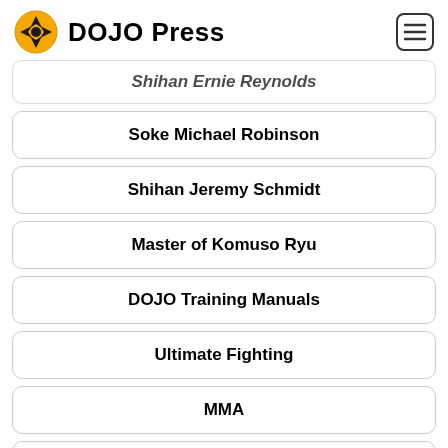DOJO Press
Shihan Ernie Reynolds
Soke Michael Robinson
Shihan Jeremy Schmidt
Master of Komuso Ryu
DOJO Training Manuals
Ultimate Fighting
MMA
Grappling Skills